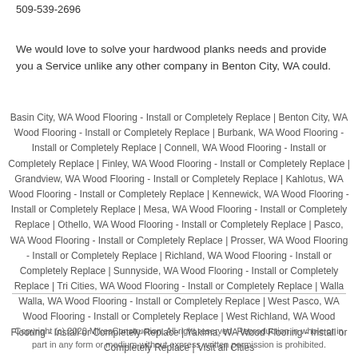509-539-2696
We would love to solve your hardwood planks needs and provide you a Service unlike any other company in Benton City, WA could.
Basin City, WA Wood Flooring - Install or Completely Replace | Benton City, WA Wood Flooring - Install or Completely Replace | Burbank, WA Wood Flooring - Install or Completely Replace | Connell, WA Wood Flooring - Install or Completely Replace | Finley, WA Wood Flooring - Install or Completely Replace | Grandview, WA Wood Flooring - Install or Completely Replace | Kahlotus, WA Wood Flooring - Install or Completely Replace | Kennewick, WA Wood Flooring - Install or Completely Replace | Mesa, WA Wood Flooring - Install or Completely Replace | Othello, WA Wood Flooring - Install or Completely Replace | Pasco, WA Wood Flooring - Install or Completely Replace | Prosser, WA Wood Flooring - Install or Completely Replace | Richland, WA Wood Flooring - Install or Completely Replace | Sunnyside, WA Wood Flooring - Install or Completely Replace | Tri Cities, WA Wood Flooring - Install or Completely Replace | Walla Walla, WA Wood Flooring - Install or Completely Replace | West Pasco, WA Wood Flooring - Install or Completely Replace | West Richland, WA Wood Flooring - Install or Completely Replace | Yakima, WA Wood Flooring - Install or Completely Replace | Visit all Cities
Copyright (c) 2020 MikesConstruction. All right reserved. Reproduction in whole or in part in any form or medium without express written permission is prohibited.